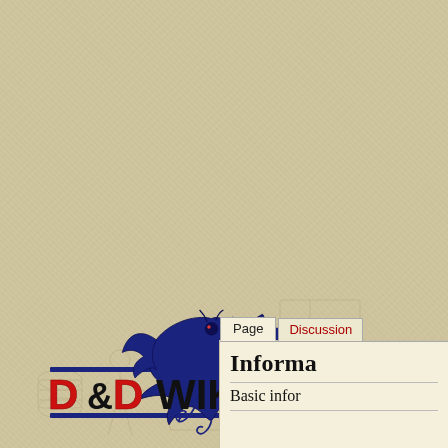[Figure (illustration): Parchment/aged paper background with faint blueprint-style sketch figures of adventurers and equipment]
[Figure (logo): D&D Wiki logo: blue dragon silhouette above the text 'D&D WIKI' where the two D letters are in red and the ampersand and 'WIKI' are in black, on a blue horizontal bar]
Informa
Basic infor